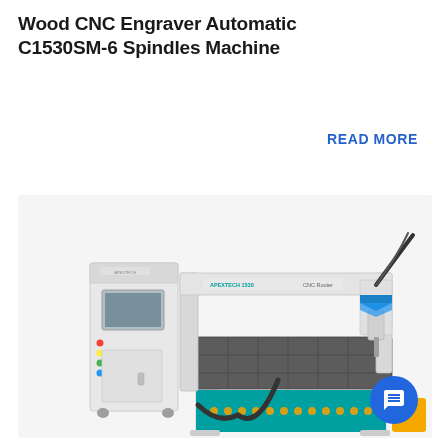Wood CNC Engraver Automatic C1530SM-6 Spindles Machine
READ MORE
[Figure (photo): Photo of a white CNC router machine labeled APEXTECH 1530 CNC Router, with a control panel cabinet on the left and a gantry-style routing table on the right. The machine features a teal/turquoise base panel and multiple spindles.]